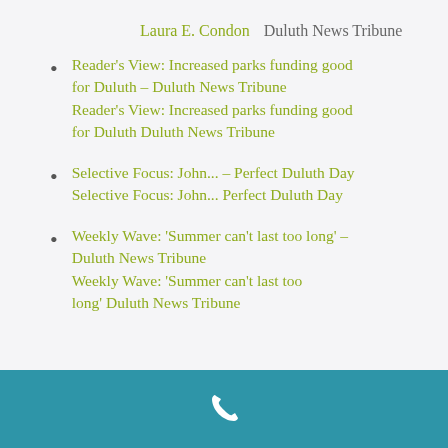Laura E. Condon  Duluth News Tribune
Reader's View: Increased parks funding good for Duluth – Duluth News Tribune
Reader's View: Increased parks funding good for Duluth  Duluth News Tribune
Selective Focus: John... – Perfect Duluth Day
Selective Focus: John...  Perfect Duluth Day
Weekly Wave: 'Summer can't last too long' – Duluth News Tribune
Weekly Wave: 'Summer can't last too long'  Duluth News Tribune
[Figure (illustration): White phone handset icon on teal/blue background footer bar]